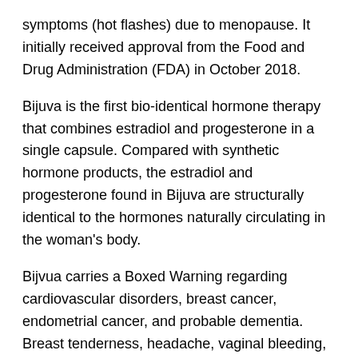symptoms (hot flashes) due to menopause. It initially received approval from the Food and Drug Administration (FDA) in October 2018.
Bijuva is the first bio-identical hormone therapy that combines estradiol and progesterone in a single capsule. Compared with synthetic hormone products, the estradiol and progesterone found in Bijuva are structurally identical to the hormones naturally circulating in the woman's body.
Bijvua carries a Boxed Warning regarding cardiovascular disorders, breast cancer, endometrial cancer, and probable dementia. Breast tenderness, headache, vaginal bleeding, vaginal discharge, and pelvic pain were the most common adverse reactions associated with Bijuva.
JUNE 2019